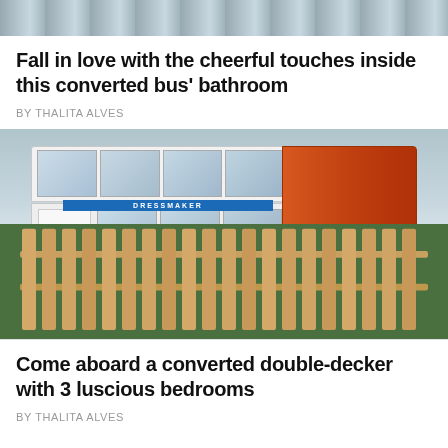[Figure (photo): Top portion of a snowy/wintry outdoor scene, cropped strip at top of page]
Fall in love with the cheerful touches inside this converted bus' bathroom
BY THALITA ALVES
[Figure (photo): A converted double-decker bus with white upper deck and orange lower right section, featuring a blue DRESSMAKER banner, parked behind a wooden fence on a grassy area]
Come aboard a converted double-decker with 3 luscious bedrooms
BY THALITA ALVES